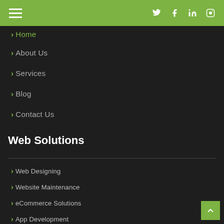Navigation bar with hamburger menu and social icons (Twitter, Facebook, LinkedIn, Instagram)
Home
About Us
Services
Blog
Contact Us
Web Solutions
Web Designing
Website Maintenance
eCommerce Solutions
App Development
CMS Development
Software Development